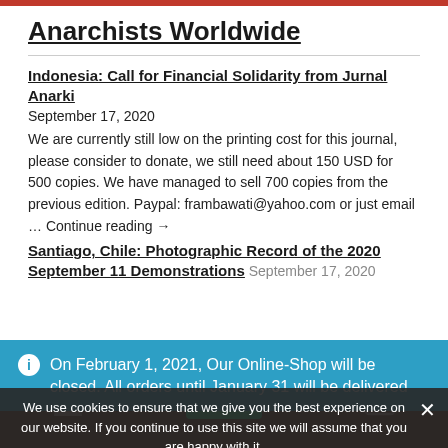Anarchists Worldwide
Indonesia: Call for Financial Solidarity from Jurnal Anarki
September 17, 2020
We are currently still low on the printing cost for this journal, please consider to donate, we still need about 150 USD for 500 copies. We have managed to sell 700 copies from the previous edition. Paypal: frambawati@yahoo.com or just email … Continue reading →
Santiago, Chile: Photographic Record of the 2020 September 11 Demonstrations
September 17, 2020
On February 1, 2021, Our Online-Shop will be closed. All orders until January 31 will be delivered
We use cookies to ensure that we give you the best experience on our website. If you continue to use this site we will assume that you are happy with it.
Ok